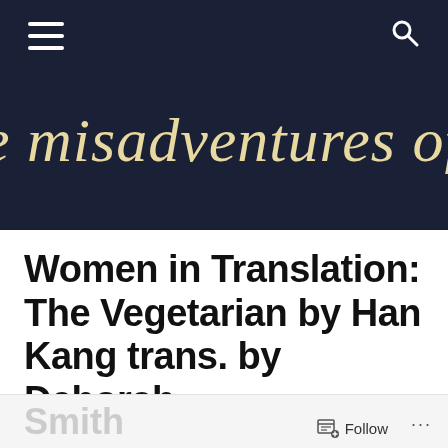[Figure (screenshot): Dark navy website header banner with hamburger menu icon on left, search icon on right, and cursive blog title text reading 'e misadventures of a rea' (partially visible) in gold/cream color]
Women in Translation: The Vegetarian by Han Kang trans. by Deborah Smith
Smith  Follow ...